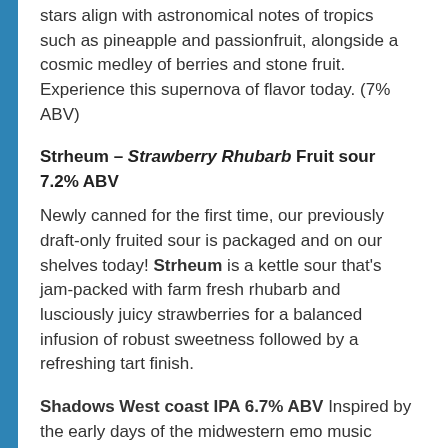stars align with astronomical notes of tropics such as pineapple and passionfruit, alongside a cosmic medley of berries and stone fruit. Experience this supernova of flavor today. (7% ABV)
Strheum – Strawberry Rhubarb Fruit sour 7.2% ABV
Newly canned for the first time, our previously draft-only fruited sour is packaged and on our shelves today! Strheum is a kettle sour that's jam-packed with farm fresh rhubarb and lusciously juicy strawberries for a balanced infusion of robust sweetness followed by a refreshing tart finish.
Shadows West coast IPA 6.7% ABV Inspired by the early days of the midwestern emo music scene, this classic West Coast IPA has a dynamic blend of Citra, Columbus, and Simcoe that really showcases a bold and electric hop profile. Pensive woody resin has subtle jolt of citrus pulp